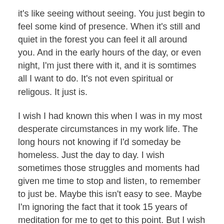it's like seeing without seeing. You just begin to feel some kind of presence. When it's still and quiet in the forest you can feel it all around you. And in the early hours of the day, or even night, I'm just there with it, and it is somtimes all I want to do. It's not even spiritual or religous. It just is.
I wish I had known this when I was in my most desperate circumstances in my work life. The long hours not knowing if I'd someday be homeless. Just the day to day. I wish sometimes those struggles and moments had given me time to stop and listen, to remember to just be. Maybe this isn't easy to see. Maybe I'm ignoring the fact that it took 15 years of meditation for me to get to this point. But I wish in my work life, which was pretty difficult at times, to say the least, that I had known.
I still work that hard, sometimes even harder. I don't take